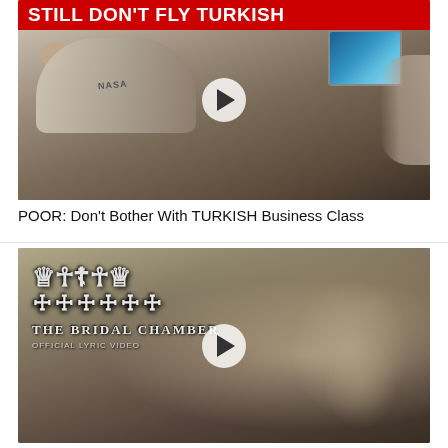[Figure (screenshot): Video thumbnail for Turkish Airlines business class review. Red banner with white bold text reading 'STILL DON'T FLY TURKISH' over an image of an aircraft business class cabin interior. A person in a NASA hoodie reclines in a flat-bed seat with an eye mask. A seatback entertainment screen is visible. A circular play button overlay is centered on the image.]
POOR: Don't Bother With TURKISH Business Class
[Figure (screenshot): Video thumbnail showing a metal band logo in stylized gothic lettering over a baroque-style painting background with angelic figures. Text reads band name in ornate lettering, then 'THE BRIDAL CHAMBER' and 'OFFICIAL LYRIC VIDEO'. A circular play button overlay is centered.]